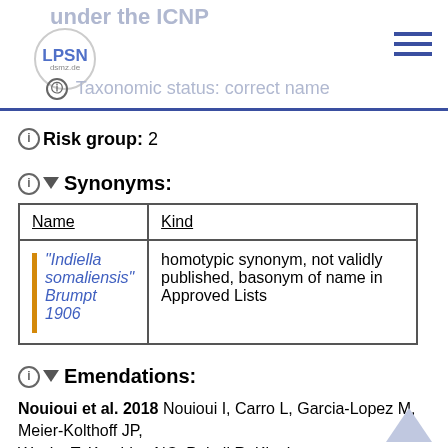under the ICNP — LPSN dsmz.de — Taxonomic status: correct name
ⓘ Risk group: 2
ⓘ ▼ Synonyms:
| Name | Kind |
| --- | --- |
| "Indiella somaliensis" Brumpt 1906 | homotypic synonym, not validly published, basonym of name in Approved Lists |
ⓘ ▼ Emendations:
Nouioui et al. 2018 Nouioui I, Carro L, Garcia-Lopez M, Meier-Kolthoff JP, Woyke T, Kyrpides NC, Pukall R, Klenk